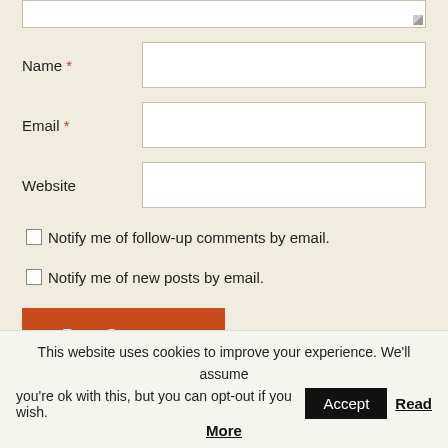[Figure (screenshot): Partial textarea with resize handle at top of form]
Name *
Email *
Website
Notify me of follow-up comments by email.
Notify me of new posts by email.
Post Comment
This website uses cookies to improve your experience. We'll assume you're ok with this, but you can opt-out if you wish. Accept Read More